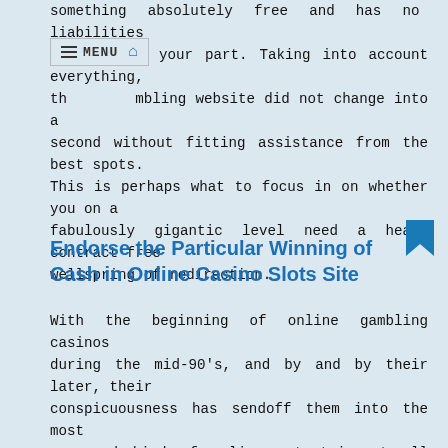something absolutely free and has no liabilities expected on your part. Taking into account everything, the gambling website did not change into a second without fitting assistance from the best spots. This is perhaps what to focus in on whether you on a fabulously gigantic level need a head, contract free wellspring of redirection.
Endorse the Particular Winning of Cash in Online Casino Slots Site
With the beginning of online gambling casinos during the mid-90's, and by and by their later, their conspicuousness has sendoff them into the most renowned kind of online entertainment all over the place. At this point, online casino wagering workplaces are showing up reliably it shows up. Diverged from the all-around common land gambling casino, you will see that playing at online gambling casino partakes in its different advantages. Truly, we